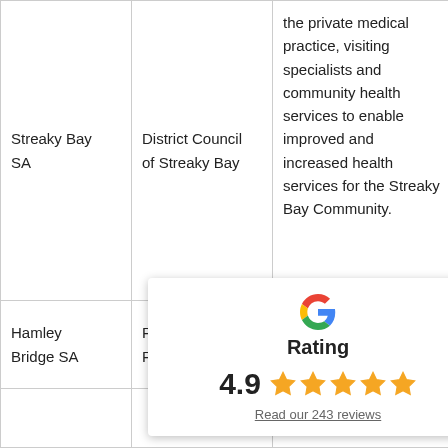| Location | Organisation | Description | Amount |
| --- | --- | --- | --- |
| Streaky Bay SA | District Council of Streaky Bay | the private medical practice, visiting specialists and community health services to enable improved and increased health services for the Streaky Bay Community. | 501,500 |
| Hamley Bridge SA | Performance Podiatry | Purchase podiatry... | 23, |
[Figure (other): Google rating overlay showing 4.9 stars from 243 reviews]